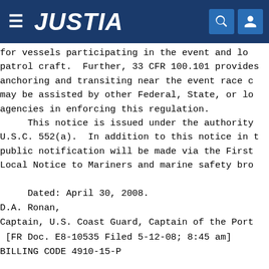JUSTIA
for vessels participating in the event and local patrol craft. Further, 33 CFR 100.101 provides anchoring and transiting near the event race course may be assisted by other Federal, State, or local agencies in enforcing this regulation.
    This notice is issued under the authority of U.S.C. 552(a). In addition to this notice in the public notification will be made via the First Local Notice to Mariners and marine safety bro...
Dated: April 30, 2008.
D.A. Ronan,
Captain, U.S. Coast Guard, Captain of the Port
 [FR Doc. E8-10535 Filed 5-12-08; 8:45 am]
BILLING CODE 4910-15-P